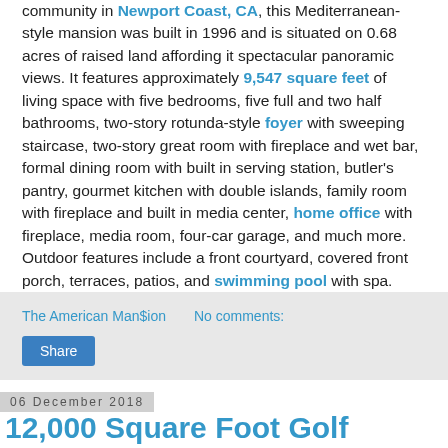community in Newport Coast, CA, this Mediterranean-style mansion was built in 1996 and is situated on 0.68 acres of raised land affording it spectacular panoramic views. It features approximately 9,547 square feet of living space with five bedrooms, five full and two half bathrooms, two-story rotunda-style foyer with sweeping staircase, two-story great room with fireplace and wet bar, formal dining room with built in serving station, butler's pantry, gourmet kitchen with double islands, family room with fireplace and built in media center, home office with fireplace, media room, four-car garage, and much more. Outdoor features include a front courtyard, covered front porch, terraces, patios, and swimming pool with spa.
The American Man$ion   No comments:
Share
06 December 2018
12,000 Square Foot Golf Course Brick Mansion in Brentwood, TN